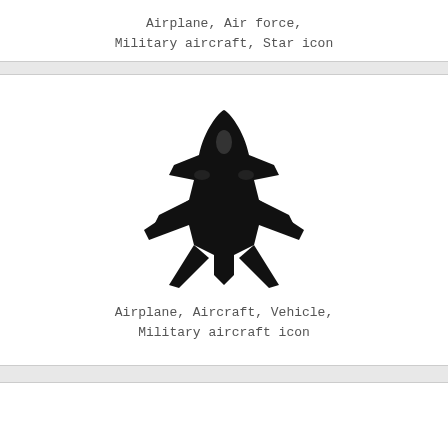[Figure (illustration): Black silhouette icon of a military jet airplane (top-down view with star marking) with caption: Airplane, Air force, Military aircraft, Star icon]
[Figure (illustration): Black silhouette icon of a military jet aircraft (angled top-down view) with caption: Airplane, Aircraft, Vehicle, Military aircraft icon]
[Figure (illustration): Black silhouette icon of a military aircraft (partially visible, bottom of page) — cropped]